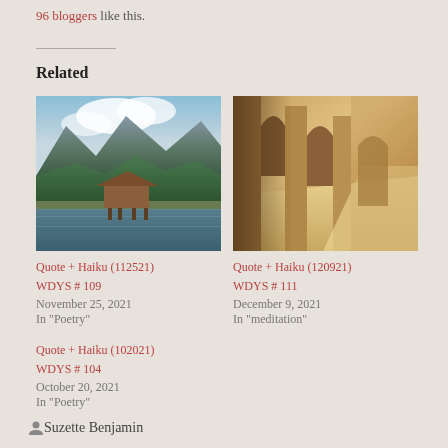96 bloggers like this.
Related
[Figure (photo): Mountain lake with wooden dock/boathouse, forested mountains and cloudy sky in background]
Quote + Haiku (112521) WDYS # 109
November 25, 2021
In "Poetry"
[Figure (photo): Interior of stone colonnade/arches with warm golden light casting shadows]
Quote + Haiku (120921) WDYS # 111
December 9, 2021
In "meditation"
Quote + Haiku (102021) WDYS # 104
October 20, 2021
In "Poetry"
Suzette Benjamin